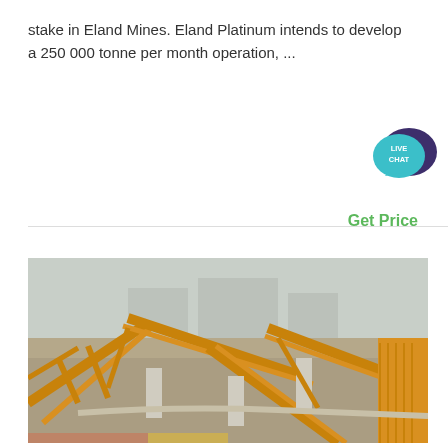stake in Eland Mines. Eland Platinum intends to develop a 250 000 tonne per month operation, ...
[Figure (infographic): Live Chat button widget — teal speech bubble with dark purple overlapping bubble and white text LIVE CHAT]
Get Price
[Figure (photo): Outdoor photograph of a large industrial mining conveyor belt system with yellow steel structures and concrete supports on a flat open site, hazy sky in background.]